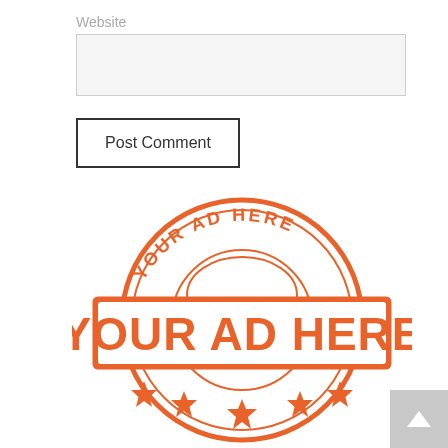Website
[Figure (other): Website text input field (empty, light gray background)]
Post Comment
[Figure (illustration): Orange stamp-style circular logo with text 'YOUR AD HERE' in large bold letters across a banner in the center, and 'YOUR AD HERE' in arched text along the top of the circle. Five stars at the bottom. Double circle border. Orange color on white background.]
[Figure (other): Gray scroll-to-top button with white upward arrow in bottom-right corner]